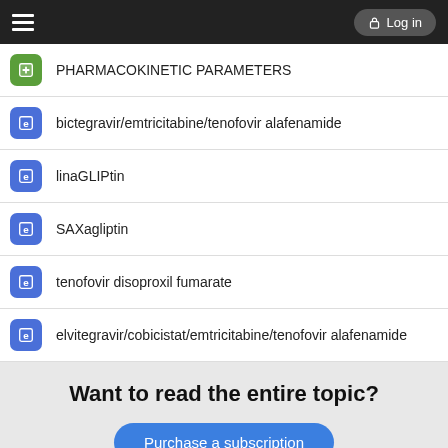PHARMACOKINETIC PARAMETERS
bictegravir/emtricitabine/tenofovir alafenamide
linaGLIPtin
SAXagliptin
tenofovir disoproxil fumarate
elvitegravir/cobicistat/emtricitabine/tenofovir alafenamide
Want to read the entire topic?
Purchase a subscription
I'm already a subscriber
Browse sample topics